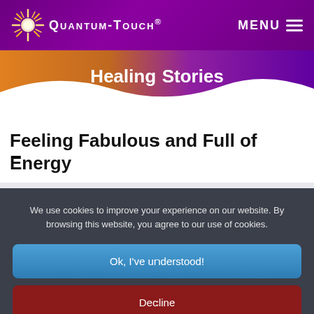[Figure (screenshot): Quantum-Touch website navigation bar with purple gradient background, star/sun logo on the left and MENU with hamburger icon on the right]
[Figure (screenshot): Healing Stories banner with orange-to-purple gradient wave background and white bold title text 'Healing Stories']
Feeling Fabulous and Full of Energy
We use cookies to improve your experience on our website. By browsing this website, you agree to our use of cookies.
Ok, I've understood!
Decline
More Info